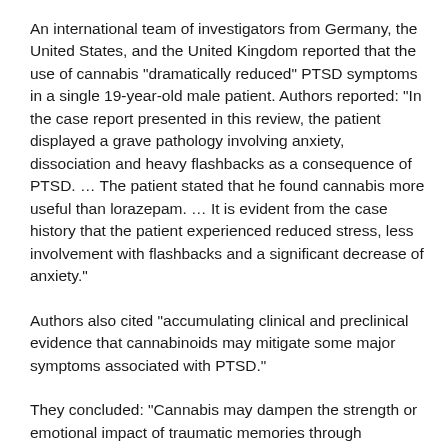An international team of investigators from Germany, the United States, and the United Kingdom reported that the use of cannabis "dramatically reduced" PTSD symptoms in a single 19-year-old male patient. Authors reported: "In the case report presented in this review, the patient displayed a grave pathology involving anxiety, dissociation and heavy flashbacks as a consequence of PTSD. … The patient stated that he found cannabis more useful than lorazepam. … It is evident from the case history that the patient experienced reduced stress, less involvement with flashbacks and a significant decrease of anxiety."
Authors also cited "accumulating clinical and preclinical evidence that cannabinoids may mitigate some major symptoms associated with PTSD."
They concluded: "Cannabis may dampen the strength or emotional impact of traumatic memories through synergistic mechanisms that might make it easier for people with PTSD to rest or sleep and to feel less anxious and less involved with flashback memories. … Evidence is increasingly accumulating that cannabinoids might play